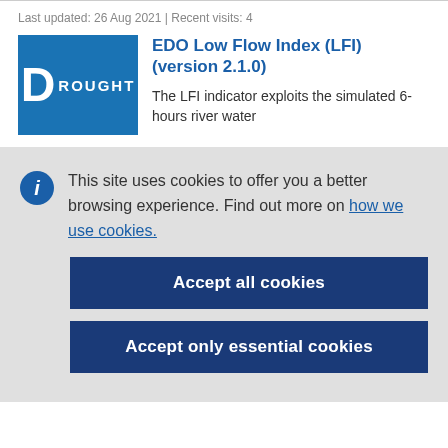Last updated: 26 Aug 2021 | Recent visits: 4
[Figure (logo): Blue square badge with large letter D and text DROUGHT]
EDO Low Flow Index (LFI) (version 2.1.0)
The LFI indicator exploits the simulated 6-hours river water
This site uses cookies to offer you a better browsing experience. Find out more on how we use cookies.
Accept all cookies
Accept only essential cookies